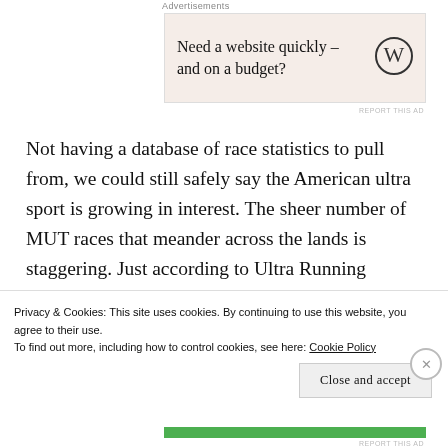Advertisements
[Figure (other): Advertisement banner: 'Need a website quickly – and on a budget?' with WordPress logo, on a pinkish-beige background.]
Not having a database of race statistics to pull from, we could still safely say the American ultra sport is growing in interest.  The sheer number of MUT races that meander across the lands is staggering.  Just according to Ultra Running Magazine “There were 554 ultramarathon races held in North America in 2010.”  Of course, what
Privacy & Cookies: This site uses cookies. By continuing to use this website, you agree to their use.
To find out more, including how to control cookies, see here: Cookie Policy
Close and accept